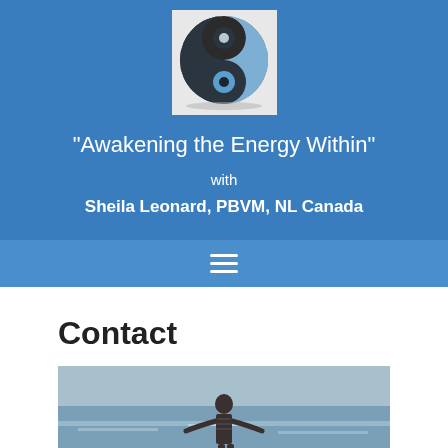[Figure (logo): Yin-yang symbol logo with blue and dark grey colors]
"Awakening the Energy Within"
with
Sheila Leonard, PBVM, NL Canada
[Figure (other): Navigation hamburger menu icon (three horizontal lines)]
Contact
[Figure (photo): Person standing with arms outstretched facing the ocean/sea, viewed from behind]